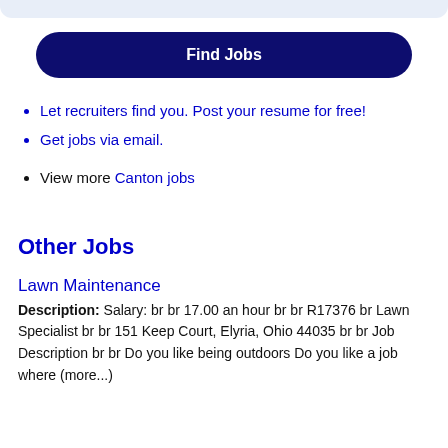[Figure (other): Top decorative bar in light blue/grey]
Find Jobs
Let recruiters find you. Post your resume for free!
Get jobs via email.
View more Canton jobs
Other Jobs
Lawn Maintenance
Description: Salary: br br 17.00 an hour br br R17376 br Lawn Specialist br br 151 Keep Court, Elyria, Ohio 44035 br br Job Description br br Do you like being outdoors Do you like a job where (more...)